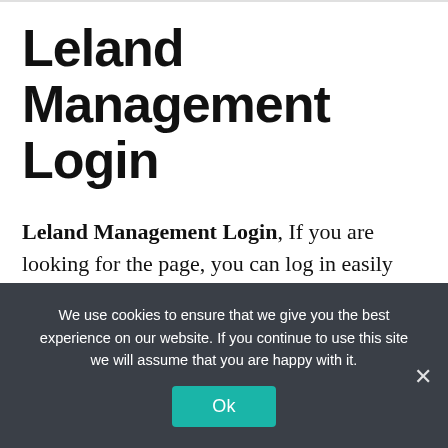Leland Management Login
Leland Management Login, If you are looking for the page, you can log in easily and securely via the Leland Management Login link we have prepared for you. Just take a look at our links below:
We use cookies to ensure that we give you the best experience on our website. If you continue to use this site we will assume that you are happy with it.